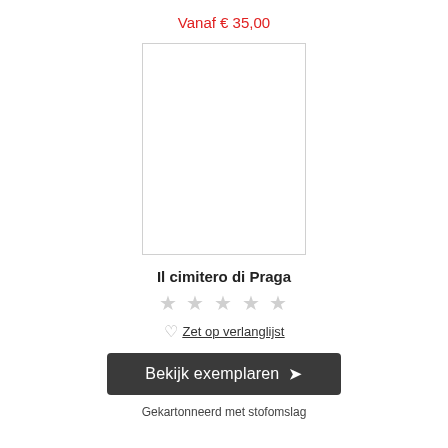Vanaf € 35,00
[Figure (illustration): Empty white book cover placeholder with light gray border]
Il cimitero di Praga
★★★★★ (star rating, all stars empty/gray)
♥ Zet op verlanglijst
Bekijk exemplaren ➤
Gekartonneerd met stofomslag